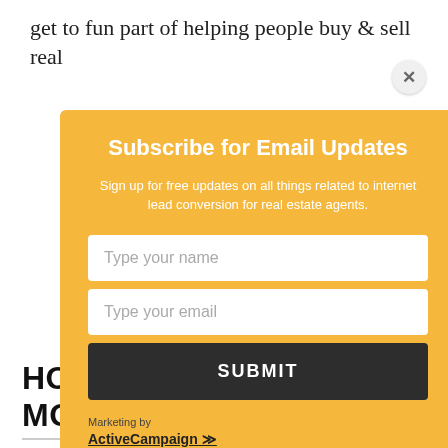get to fun part of helping people buy & sell real
Subscribe for Email Updates
Sign up for free updates on all things related to internet lead conversion for real estate agents.
Type your name
Type your email
SUBMIT
Marketing by
ActiveCampaign ≫
HOW TO CONVERT MORE